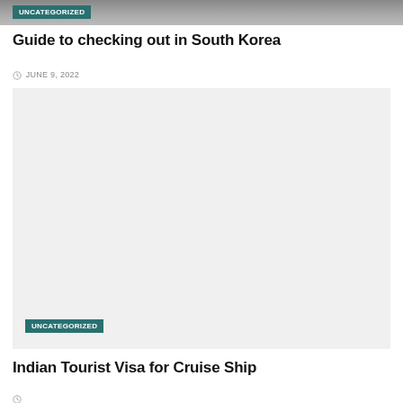[Figure (photo): Top portion of a travel blog page showing a dark/grey image with an UNCATEGORIZED badge overlaid]
Guide to checking out in South Korea
JUNE 9, 2022
[Figure (photo): Large light grey placeholder image with an UNCATEGORIZED badge in the lower left corner]
Indian Tourist Visa for Cruise Ship